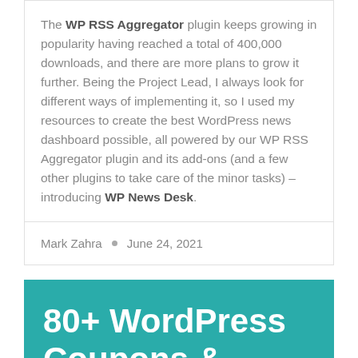The WP RSS Aggregator plugin keeps growing in popularity having reached a total of 400,000 downloads, and there are more plans to grow it further. Being the Project Lead, I always look for different ways of implementing it, so I used my resources to create the best WordPress news dashboard possible, all powered by our WP RSS Aggregator plugin and its add-ons (and a few other plugins to take care of the minor tasks) – introducing WP News Desk.
Mark Zahra • June 24, 2021
80+ WordPress Coupons &